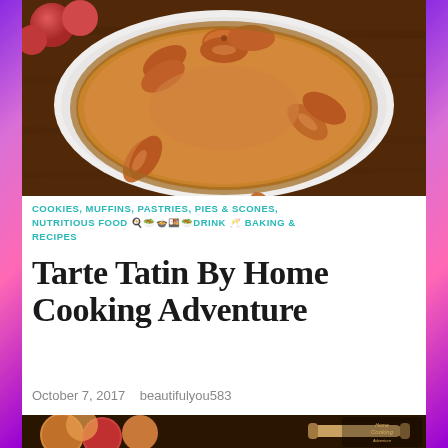[Figure (photo): Overhead photo of a Tarte Tatin on a white plate — caramelized apple halves arranged in a circular pattern on a golden pastry crust, on a dark wooden table with whole apples in background]
COOKIES, MUFFINS, PASTRIES, PIES & SCONES, NUTRITIOUS FOOD 🍳🥗🍲🍱🥗DRINK 🥂 BAKING & RECIPES
Tarte Tatin By Home Cooking Adventure
October 7, 2017   beautifulyou583
[Figure (photo): Photo of fresh apples and a rolling pin on a dark wooden cutting board, with a Home Cooking Adventure logo watermark in the bottom right corner]